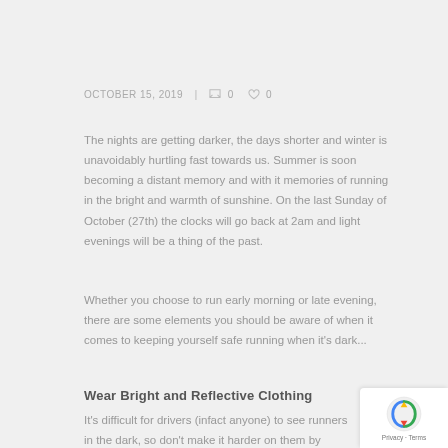OCTOBER 15, 2019  |  0  0
The nights are getting darker, the days shorter and winter is unavoidably hurtling fast towards us. Summer is soon becoming a distant memory and with it memories of running in the bright and warmth of sunshine. On the last Sunday of October (27th) the clocks will go back at 2am and light evenings will be a thing of the past.
Whether you choose to run early morning or late evening, there are some elements you should be aware of when it comes to keeping yourself safe running when it's dark...
Wear Bright and Reflective Clothing
It's difficult for drivers (infact anyone) to see runners in the dark, so don't make it harder on them by